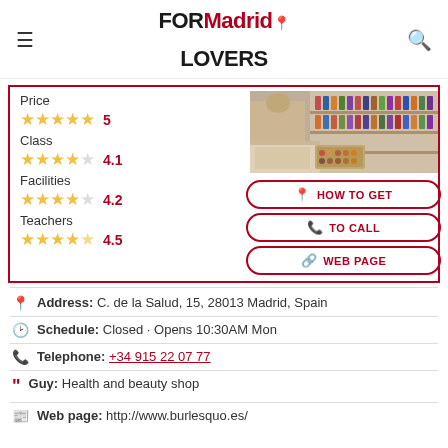FORMadrid LOVERS
| Category | Stars | Rating |
| --- | --- | --- |
| Price | ★★★★★ | 5 |
| Class | ★★★★☆ | 4.1 |
| Facilities | ★★★★☆ | 4.2 |
| Teachers | ★★★★½ | 4.5 |
[Figure (photo): Interior of a beauty/makeup shop showing shelves stocked with cosmetics and makeup products]
HOW TO GET
TO CALL
WEB PAGE
Address: C. de la Salud, 15, 28013 Madrid, Spain
Schedule: Closed · Opens 10:30AM Mon
Telephone: +34 915 22 07 77
Guy: Health and beauty shop
Web page: http://www.burlesquo.es/